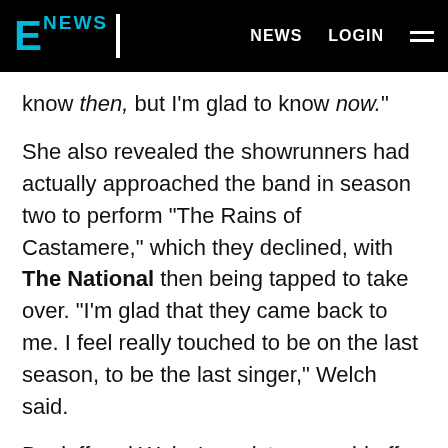E NEWS   NEWS   LOGIN
know then, but I'm glad to know now."
She also revealed the showrunners had actually approached the band in season two to perform "The Rains of Castamere," which they declined, with The National then being tapped to take over. "I'm glad that they came back to me. I feel really touched to be on the last season, to be the last singer," Welch said.
Benioff and Weiss' persistence paid off, with Welch's take on "Jenny and the Oldstones" earning praise and causing lots of chills ahead of the big battle episode.